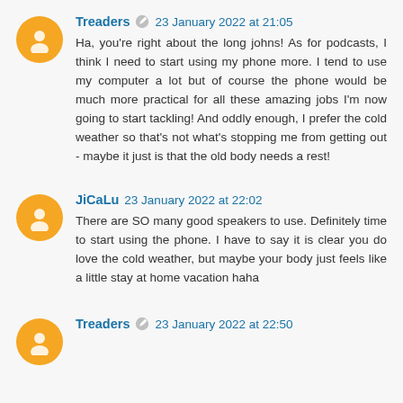Treaders • 23 January 2022 at 21:05
Ha, you're right about the long johns! As for podcasts, I think I need to start using my phone more. I tend to use my computer a lot but of course the phone would be much more practical for all these amazing jobs I'm now going to start tackling! And oddly enough, I prefer the cold weather so that's not what's stopping me from getting out - maybe it just is that the old body needs a rest!
JiCaLu 23 January 2022 at 22:02
There are SO many good speakers to use. Definitely time to start using the phone. I have to say it is clear you do love the cold weather, but maybe your body just feels like a little stay at home vacation haha
Treaders • 23 January 2022 at 22:50